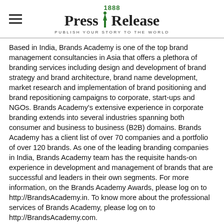1888 Press Release — PUBLISH YOUR STORY TO THE WORLD
Based in India, Brands Academy is one of the top brand management consultancies in Asia that offers a plethora of branding services including design and development of brand strategy and brand architecture, brand name development, market research and implementation of brand positioning and brand repositioning campaigns to corporate, start-ups and NGOs. Brands Academy's extensive experience in corporate branding extends into several industries spanning both consumer and business to business (B2B) domains. Brands Academy has a client list of over 70 companies and a portfolio of over 120 brands. As one of the leading branding companies in India, Brands Academy team has the requisite hands-on experience in development and management of brands that are successful and leaders in their own segments. For more information, on the Brands Academy Awards, please log on to http://BrandsAcademy.in. To know more about the professional services of Brands Academy, please log on to http://BrandsAcademy.com.
###